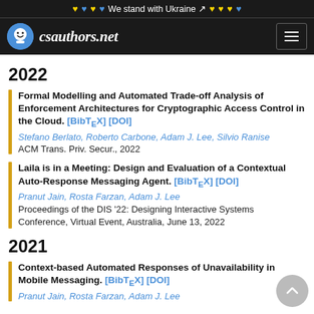♥ ♥ ♥ ♥ We stand with Ukraine ↗ ♥ ♥ ♥ ♥
[Figure (logo): csauthors.net logo with smiley face icon and navigation hamburger menu on dark background]
2022
Formal Modelling and Automated Trade-off Analysis of Enforcement Architectures for Cryptographic Access Control in the Cloud. [BibTeX] [DOI]
Stefano Berlato, Roberto Carbone, Adam J. Lee, Silvio Ranise
ACM Trans. Priv. Secur., 2022
Laila is in a Meeting: Design and Evaluation of a Contextual Auto-Response Messaging Agent. [BibTeX] [DOI]
Pranut Jain, Rosta Farzan, Adam J. Lee
Proceedings of the DIS '22: Designing Interactive Systems Conference, Virtual Event, Australia, June 13, 2022
2021
Context-based Automated Responses of Unavailability in Mobile Messaging. [BibTeX] [DOI]
Pranut Jain, Rosta Farzan, Adam J. Lee